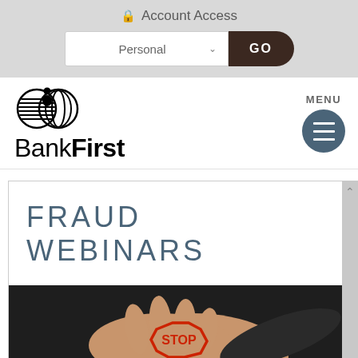Account Access
[Figure (screenshot): Personal account dropdown selector with a GO button]
[Figure (logo): BankFirst logo with circular icon above the text]
FRAUD WEBINARS
[Figure (photo): Hand holding a STOP sign stamp, dark background]